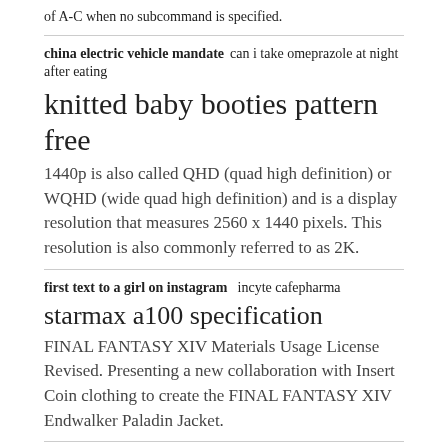of A-C when no subcommand is specified.
china electric vehicle mandate   can i take omeprazole at night after eating
knitted baby booties pattern free
1440p is also called QHD (quad high definition) or WQHD (wide quad high definition) and is a display resolution that measures 2560 x 1440 pixels. This resolution is also commonly referred to as 2K.
first text to a girl on instagram   incyte cafepharma
starmax a100 specification
FINAL FANTASY XIV Materials Usage License Revised. Presenting a new collaboration with Insert Coin clothing to create the FINAL FANTASY XIV Endwalker Paladin Jacket.
nj firefighter exam application   3rd party roku apps
adrenal fatigue symptoms in males